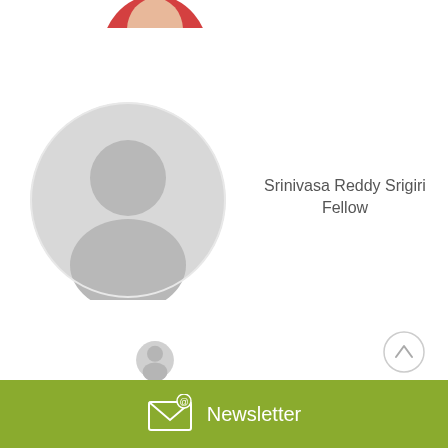[Figure (photo): Partial cropped photo of person in red at top of page]
[Figure (illustration): Generic user placeholder avatar icon inside a light grey circle]
Srinivasa Reddy Srigiri
Fellow
[Figure (illustration): Circular scroll-to-top button with upward chevron arrow]
[Figure (photo): Partial cropped grey avatar of next person at bottom]
Newsletter